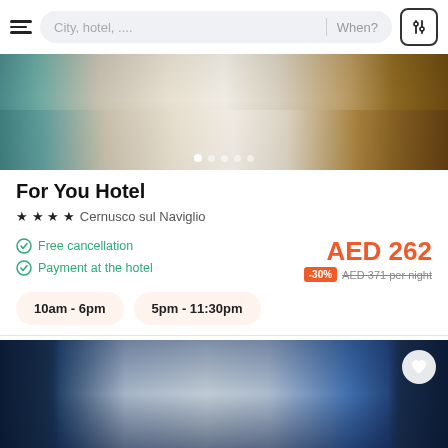City, hotel, .... When?
[Figure (photo): Hotel room photo showing a bed with white linens and wooden furniture, used as a carousel image]
For You Hotel
★★★★ Cernusco sul Naviglio
Free cancellation
Payment at the hotel
AED 262
-30% AED 371 per night
10am - 6pm
5pm - 11:30pm
[Figure (photo): Hotel room photo showing a blue-themed room with curtains and ceiling spotlights]